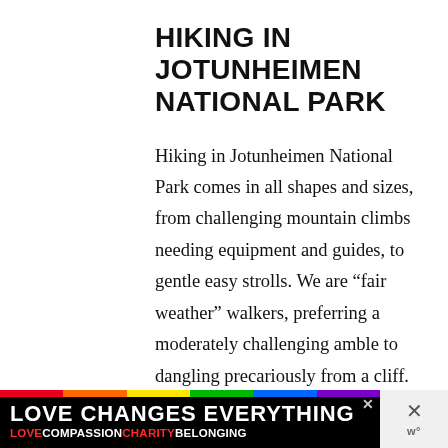HIKING IN JOTUNHEIMEN NATIONAL PARK
Hiking in Jotunheimen National Park comes in all shapes and sizes, from challenging mountain climbs needing equipment and guides, to gentle easy strolls. We are “fair weather” walkers, preferring a moderately challenging amble to dangling precariously from a cliff. For us, hiking in Jotunheimen would require only a map, a good sense
[Figure (infographic): Advertisement banner at bottom of page. Black background with rainbow strip, bold white text 'LOVE CHANGES EVERYTHING', subline in red/white 'LOVE COMPASSION CHARITY BELONGING'. Close button X visible top right of banner. Right side grey panel with X close button and logo 'w°'.]